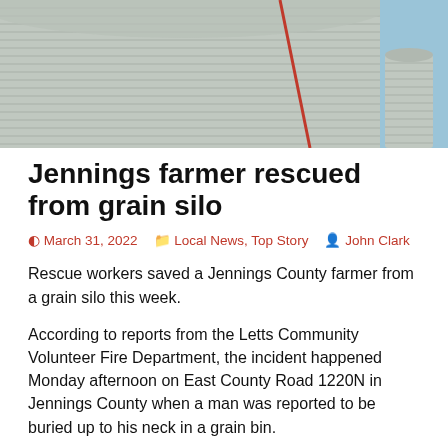[Figure (photo): Close-up photograph of a large corrugated metal grain silo against a blue sky, with ridged cylindrical walls and a curved roof visible.]
Jennings farmer rescued from grain silo
March 31, 2022   Local News, Top Story   John Clark
Rescue workers saved a Jennings County farmer from a grain silo this week.
According to reports from the Letts Community Volunteer Fire Department, the incident happened Monday afternoon on East County Road 1220N in Jennings County when a man was reported to be buried up to his neck in a grain bin.
Westport Fire Department, which provides coverage for the area was the first on the scene, and called for assistance from Jennings County departments. Those on the scene